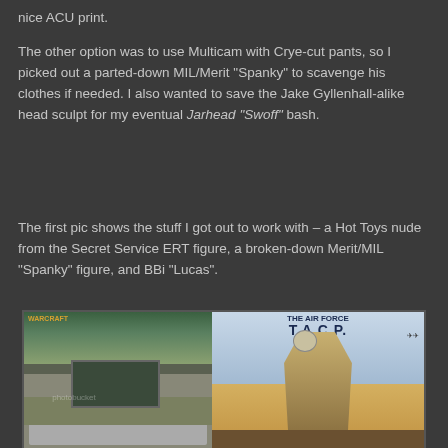nice ACU print.
The other option was to use Multicam with Crye-cut pants, so I picked out a parted-down MIL/Merit “Spanky” to scavenge his clothes if needed. I also wanted to save the Jake Gyllenhall-alike head sculpt for my eventual Jarhead “Swoff” bash.
The first pic shows the stuff I got out to work with – a Hot Toys nude from the Secret Service ERT figure, a broken-down Merit/MIL “Spanky” figure, and BBi “Lucas”.
[Figure (photo): Two-part photo: left side shows action figures laid out near a computer desk with a World of Warcraft poster; right side shows a BBi 'The Air Force T.A.C.P.' box art featuring a soldier in combat gear with helicopters in background.]